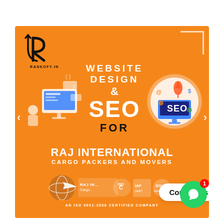[Figure (logo): Rankofy.in logo — stylized R with radiating lines and RANKOFY.IN text below]
WEBSITE DESIGN & SEO FOR
[Figure (illustration): Web design workspace illustration showing a person at a computer with UI screens]
[Figure (illustration): Circular SEO badge illustration with rocket, icons, and SEO monitor graphic]
RAJ INTERNATIONAL CARGO PACKERS AND MOVERS
[Figure (logo): Raj International Cargo logo with globe and certification badges (IAF, SGI, ISO 9001:2008)]
AN ISO 9001:2008 CERTIFIED COMPANY
Contact us